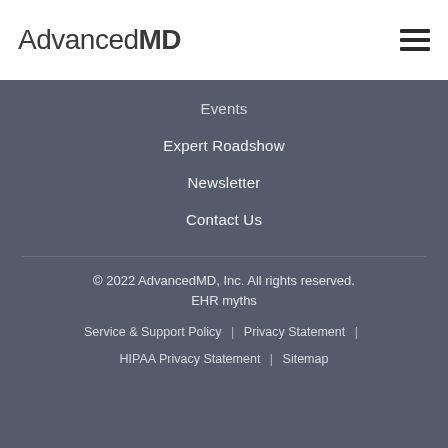AdvancedMD
Events
Expert Roadshow
Newsletter
Contact Us
© 2022 AdvancedMD, Inc. All rights reserved.
EHR myths
Service & Support Policy  |  Privacy Statement  |
HIPAA Privacy Statement  |  Sitemap